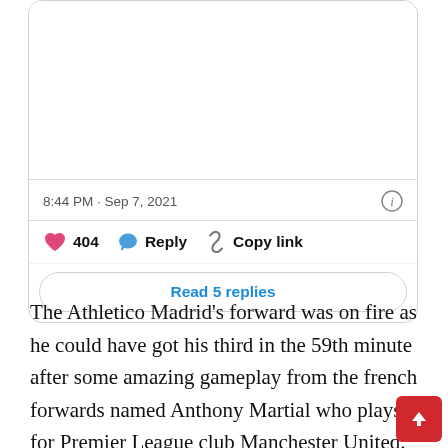[Figure (screenshot): Tweet card with blank image area, timestamp '8:44 PM · Sep 7, 2021', 404 likes, Reply and Copy link actions, and 'Read 5 replies' button]
The Athletico Madrid's forward was on fire as he could have got his third in the 59th minute after some amazing gameplay from the french forwards named Anthony Martial who plays for Premier League club Manchester United. Real Madrid's